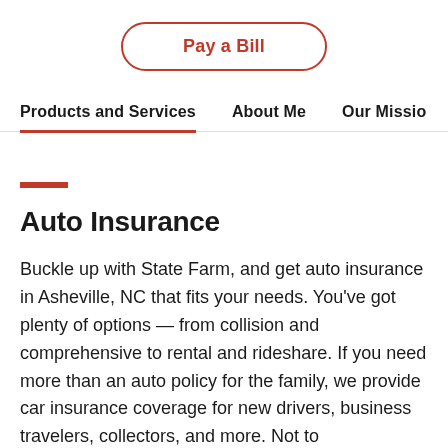[Figure (other): Pay a Bill button with rounded border in red]
Products and Services   About Me   Our Missio
Auto Insurance
Buckle up with State Farm, and get auto insurance in Asheville, NC that fits your needs. You’ve got plenty of options — from collision and comprehensive to rental and rideshare. If you need more than an auto policy for the family, we provide car insurance coverage for new drivers, business travelers, collectors, and more. Not to